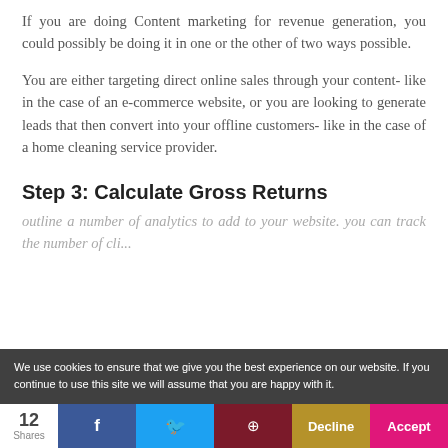If you are doing Content marketing for revenue generation, you could possibly be doing it in one or the other of two ways possible.
You are either targeting direct online sales through your content- like in the case of an e-commerce website, or you are looking to generate leads that then convert into your offline customers- like in the case of a home cleaning service provider.
Step 3: Calculate Gross Returns
outline a number of analytics to add to your website. you can track the number of cli...
We use cookies to ensure that we give you the best experience on our website. If you continue to use this site we will assume that you are happy with it.